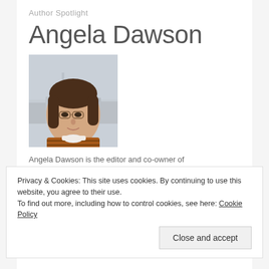Author Spotlight
Angela Dawson
[Figure (photo): Portrait photo of Angela Dawson, a woman with shoulder-length dark hair and glasses, wearing a striped top, with a cityscape (Eiffel Tower) in the background.]
Angela Dawson is the editor and co-owner of frontrowfeatures.com. An award-winning journalist, she has covered Hollywood since 2000. Her interviews with actors, directors, writers, authors and musicians have run in numerous outlets. She is the author of the novel "Generations: A Greek Family
Privacy & Cookies: This site uses cookies. By continuing to use this website, you agree to their use.
To find out more, including how to control cookies, see here: Cookie Policy
Close and accept